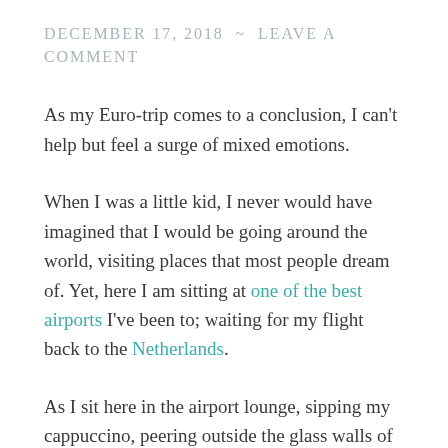DECEMBER 17, 2018 ~ LEAVE A COMMENT
As my Euro-trip comes to a conclusion, I can't help but feel a surge of mixed emotions.
When I was a little kid, I never would have imagined that I would be going around the world, visiting places that most people dream of. Yet, here I am sitting at one of the best airports I've been to; waiting for my flight back to the Netherlands.
As I sit here in the airport lounge, sipping my cappuccino, peering outside the glass walls of this human ingenuity of a building, I can't